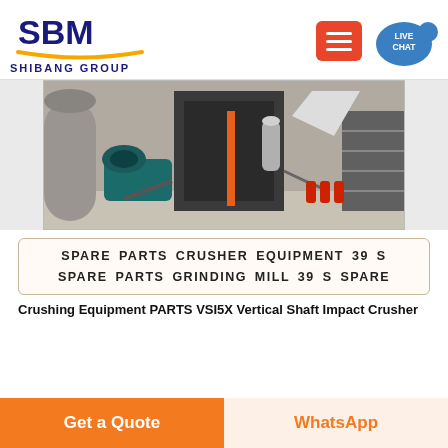SBM SHIBANG GROUP — navigation header with logo and menu/live chat buttons
[Figure (photo): Industrial machine / vertical shaft impact crusher equipment inside a factory building. Shows large machinery with motors, pipes, stairs, and various industrial components.]
SPARE PARTS CRUSHER EQUIPMENT 39 S SPARE PARTS GRINDING MILL 39 S SPARE
Crushing Equipment PARTS VSI5X Vertical Shaft Impact Crusher
Get a Quote | WhatsApp